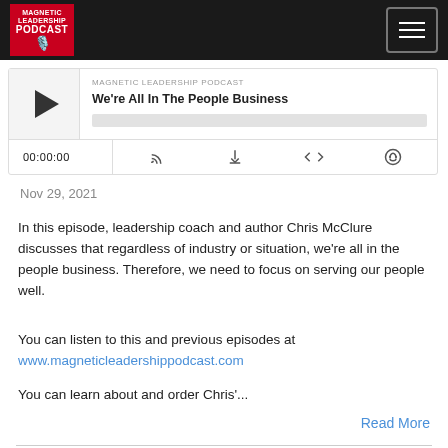MAGNETIC LEADERSHIP PODCAST
[Figure (screenshot): Podcast player widget showing episode 'We're All In The People Business' with play button, progress bar, time display 00:00:00, and control icons]
Nov 29, 2021
In this episode, leadership coach and author Chris McClure discusses that regardless of industry or situation, we're all in the people business. Therefore, we need to focus on serving our people well.
You can listen to this and previous episodes at www.magneticleadershippodcast.com
You can learn about and order Chris'...
Read More